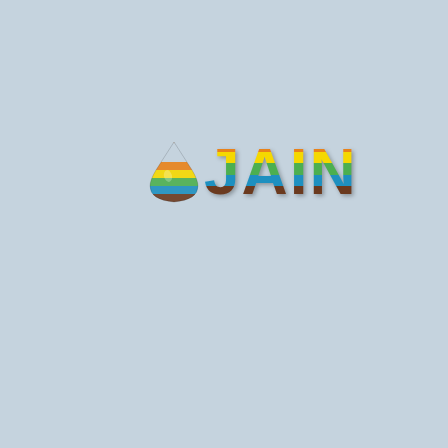[Figure (logo): Jain Irrigation logo consisting of a water droplet icon with layered earth/sky stripes on the left, and the word JAIN in bold text with horizontal color stripes (orange, yellow, green, blue, brown) on a light blue-grey background.]